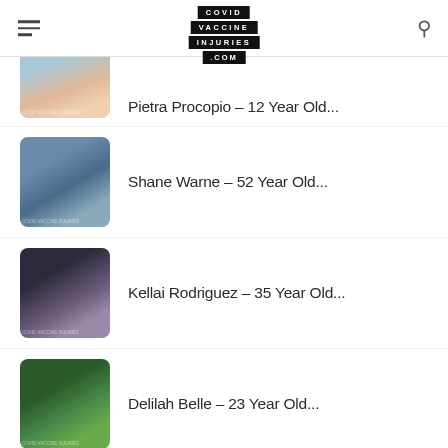COVID VACCINE INJURIES .COM
Pietra Procopio – 12 Year Old...
Shane Warne – 52 Year Old...
Kellai Rodriguez – 35 Year Old...
Delilah Belle – 23 Year Old...
Hailey Bieber – 25 Year Old...